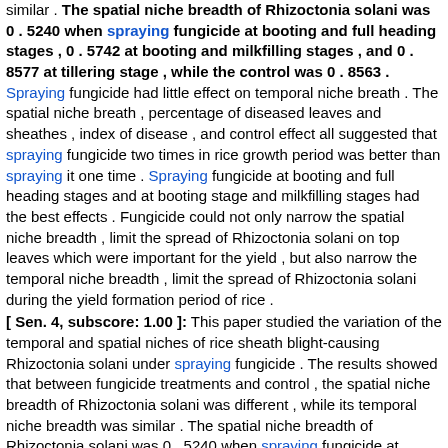similar . The spatial niche breadth of Rhizoctonia solani was 0 . 5240 when spraying fungicide at booting and full heading stages , 0 . 5742 at booting and milkfilling stages , and 0 . 8577 at tillering stage , while the control was 0 . 8563 . Spraying fungicide had little effect on temporal niche breath . The spatial niche breath , percentage of diseased leaves and sheathes , index of disease , and control effect all suggested that spraying fungicide two times in rice growth period was better than spraying it one time . Spraying fungicide at booting and full heading stages and at booting stage and milkfilling stages had the best effects . Fungicide could not only narrow the spatial niche breadth , limit the spread of Rhizoctonia solani on top leaves which were important for the yield , but also narrow the temporal niche breadth , limit the spread of Rhizoctonia solani during the yield formation period of rice .
[ Sen. 4, subscore: 1.00 ]: This paper studied the variation of the temporal and spatial niches of rice sheath blight-causing Rhizoctonia solani under spraying fungicide . The results showed that between fungicide treatments and control , the spatial niche breadth of Rhizoctonia solani was different , while its temporal niche breadth was similar . The spatial niche breadth of Rhizoctonia solani was 0 . 5240 when spraying fungicide at booting and full heading stages , 0 . 5742 at booting and milkfilling stages , and 0 . 8577 at tillering stage , while the control was 0 . 8563 . Spraying fungicide had little effect on temporal niche breath . The spatial niche breath , percentage of diseased leaves and sheathes , index of disease , and control effect all suggested that spraying fungicide two times in rice growth period was better than spraying it one time . Spraying fungicide at booting and full heading stages and at booting stage and milkfilling stages had the best effects . Fungicide could not only narrow the spatial niche breadth , limit the spread of Rhizoctonia solani on top leaves which were important for the yield , but also narrow the temporal niche breadth , limit the spread of